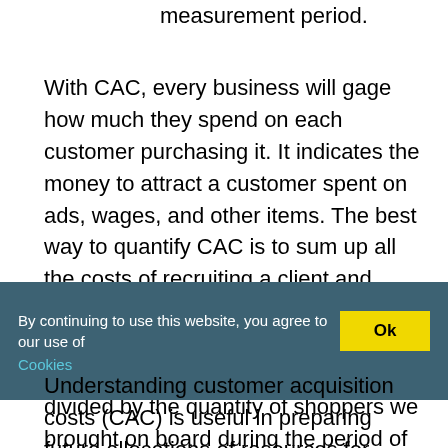measurement period.
With CAC, every business will gage how much they spend on each customer purchasing it. It indicates the money to attract a customer spent on ads, wages, and other items. The best way to quantify CAC is to sum up all the costs of recruiting a client and divide it by the total number of new clients. Actually, CAC is adequate the quantity spent on sales and marketing divided by the quantity of shoppers we brought on board during the period of time that we are measuring.
By continuing to use this website, you agree to our use of Cookies
Understanding customer acquisition costs (CAC) is useful in preparing future allocations of resources for marketing projects and discounts on purchases. In